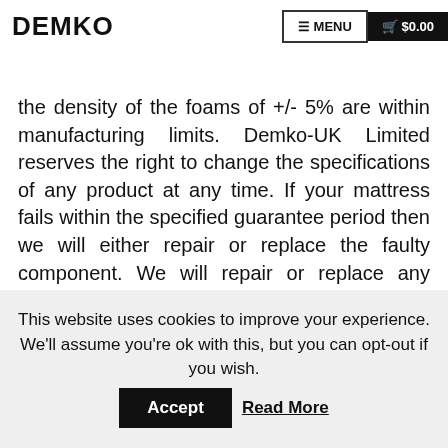DEMKO | MENU | $0.00
temperature, and as such is not considered as a fault. All sizes quoted are for the finished mattresses. Variations in the density of the foams of +/- 5% are within manufacturing limits. Demko-UK Limited reserves the right to change the specifications of any product at any time. If your mattress fails within the specified guarantee period then we will either repair or replace the faulty component. We will repair or replace any product if it develops a fault within the guarantee period. Should that specific product no longer be available we will provide an alternative product of equivalent specification.
This website uses cookies to improve your experience. We'll assume you're ok with this, but you can opt-out if you wish.
Accept | Read More